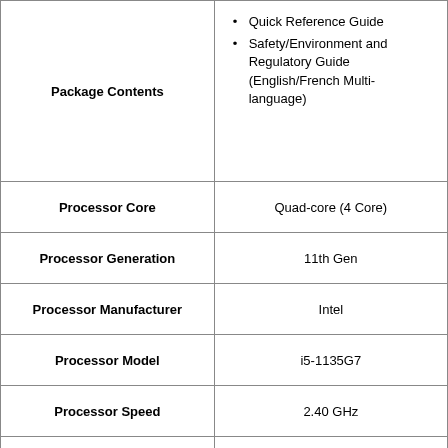| Attribute | Value |
| --- | --- |
| Package Contents | Quick Reference Guide
Safety/Environment and Regulatory Guide (English/French Multi-language) |
| Processor Core | Quad-core (4 Core) |
| Processor Generation | 11th Gen |
| Processor Manufacturer | Intel |
| Processor Model | i5-1135G7 |
| Processor Speed | 2.40 GHz |
| Processor Type | Core i5 |
| Product Color | Black |
| Product Line | Latitude |
| Product Model | 7420 |
| Product Name | Latitude 7420 |